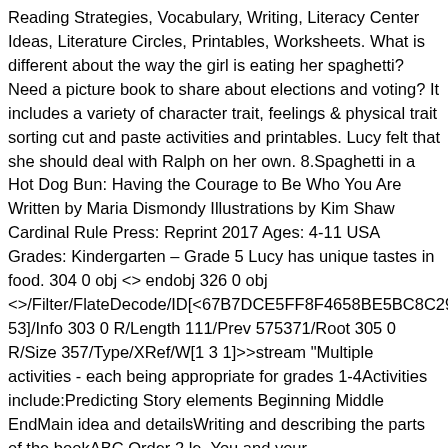Reading Strategies, Vocabulary, Writing, Literacy Center Ideas, Literature Circles, Printables, Worksheets. What is different about the way the girl is eating her spaghetti? Need a picture book to share about elections and voting? It includes a variety of character trait, feelings & physical trait sorting cut and paste activities and printables. Lucy felt that she should deal with Ralph on her own. 8.Spaghetti in a Hot Dog Bun: Having the Courage to Be Who You Are Written by Maria Dismondy Illustrations by Kim Shaw Cardinal Rule Press: Reprint 2017 Ages: 4-11 USA Grades: Kindergarten – Grade 5 Lucy has unique tastes in food. 304 0 obj <> endobj 326 0 obj <>/Filter/FlateDecode/ID[<67B7DCE5FF8F4658BE5BC8C292B9F19D>]/Index[304 53]/Info 303 0 R/Length 111/Prev 575371/Root 305 0 R/Size 357/Type/XRef/W[1 3 1]>>stream "Multiple activities - each being appropriate for grades 1-4Activities include:Predicting Story elements Beginning Middle EndMain idea and detailsWriting and describing the parts of the bookABC Order 2 le, You and your